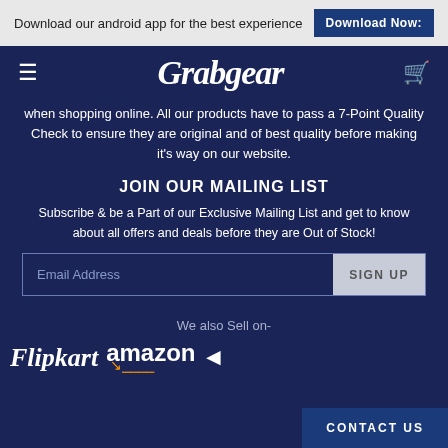Download our android app for the best experience | Download Now:
[Figure (logo): Grabgear website navbar with hamburger menu, Grabgear logo in italic white, and cart icon on dark navy background]
when shopping online. All our products have to pass a 7-Point Quality Check to ensure they are original and of best quality before making it's way on our website.
JOIN OUR MAILING LIST
Subscribe & be a Part of our Exclusive Mailing List and get to know about all offers and deals before they are Out of Stock!
Email Address | SIGN UP
We also Sell on-
[Figure (logo): Marketplace logos: Flipkart, amazon, and partial logos on dark navy background]
CONTACT US